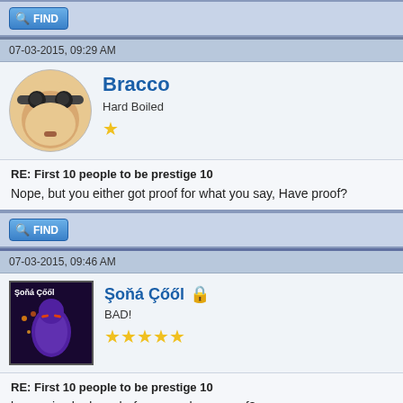[Figure (screenshot): FIND button with magnifying glass icon, blue gradient button]
07-03-2015, 09:29 AM
[Figure (illustration): Bracco avatar: cartoon face with goggles on egg-shaped head]
Bracco
Hard Boiled
★
RE: First 10 people to be prestige 10
Nope, but you either got proof for what you say, Have proof?
[Figure (screenshot): FIND button with magnifying glass icon, blue gradient button]
07-03-2015, 09:46 AM
[Figure (illustration): Soña Cóól avatar: purple ninja-like character with fire effects on dark background]
Şoňá Çőől
BAD!
★★★★★
RE: First 10 people to be prestige 10
bracco i asked you before you , have proof?
[Figure (illustration): Bottom banner with dark purple background and ninja/ghost character silhouette]